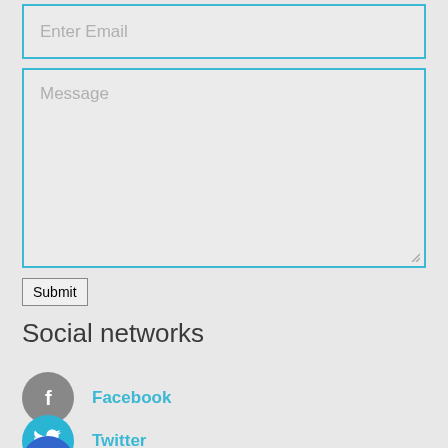[Figure (screenshot): Email input field with placeholder text 'Enter Email', styled with cyan border]
[Figure (screenshot): Message textarea with placeholder text 'Message', styled with cyan border and resize handle]
Submit
Social networks
[Figure (infographic): Facebook social network link with gray circle icon containing white 'f' letter and cyan 'Facebook' label]
[Figure (infographic): Twitter social network link with cyan circle icon containing white bird logo and cyan 'Twitter' label]
[Figure (infographic): Partially visible blue circle icon at bottom of page]